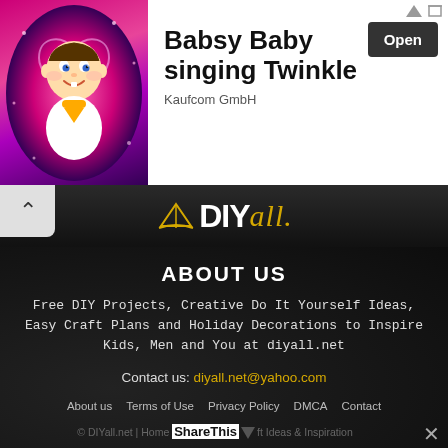[Figure (illustration): Advertisement banner with animated baby character on pink/purple starry background, with text 'Babsy Baby singing Twinkle' and an Open button, by Kaufcom GmbH]
[Figure (logo): DIYall.net logo with golden paper boat icon, bold white DIY text and golden italic 'all.' text on dark background]
ABOUT US
Free DIY Projects, Creative Do It Yourself Ideas, Easy Craft Plans and Holiday Decorations to Inspire Kids, Men and You at diyall.net
Contact us: diyall.net@yahoo.com
About us   Terms of Use   Privacy Policy   DMCA   Contact
© DIYall.net | Home ShareThis Craft Ideas & Inspiration